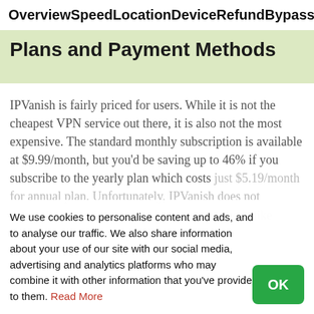Overview  Speed  Location  Device  Refund  Bypassing
Plans and Payment Methods
IPVanish is fairly priced for users. While it is not the cheapest VPN service out there, it is also not the most expensive. The standard monthly subscription is available at $9.99/month, but you'd be saving up to 46% if you subscribe to the yearly plan which costs [obscured by cookie banner]
We use cookies to personalise content and ads, and to analyse our traffic. We also share information about your use of our site with our social media, advertising and analytics platforms who may combine it with other information that you've provided to them. Read More